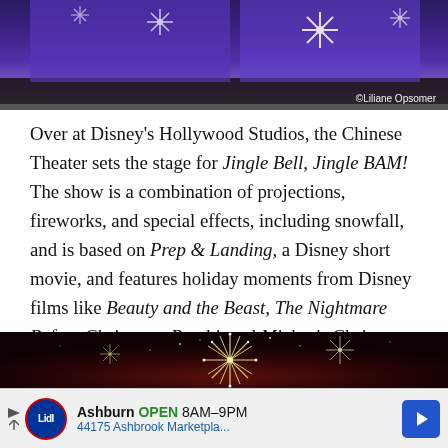[Figure (photo): Photo of Disney Hollywood Studios Chinese Theater with purple snowflake projections at night. Photo credit: ©Liliane Opsomer]
Over at Disney's Hollywood Studios, the Chinese Theater sets the stage for Jingle Bell, Jingle BAM! The show is a combination of projections, fireworks, and special effects, including snowfall, and is based on Prep & Landing, a Disney short movie, and features holiday moments from Disney films like Beauty and the Beast, The Nightmare Before Christmas, Bambi, and Mickey's Christmas Carol.
[Figure (photo): Fireworks display with sparkling light bursts against a dark red/black night sky background.]
Ashburn OPEN 8AM–9PM 44175 Ashbrook Marketpla...